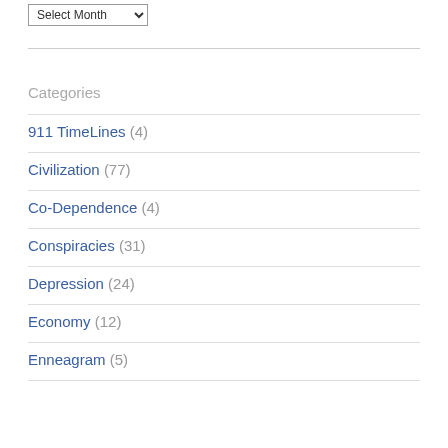Select Month (dropdown)
Categories
911 TimeLines (4)
Civilization (77)
Co-Dependence (4)
Conspiracies (31)
Depression (24)
Economy (12)
Enneagram (5)